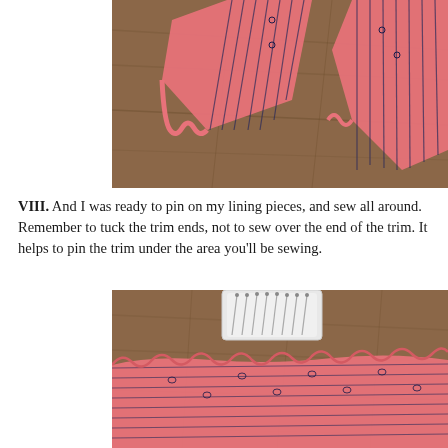[Figure (photo): Photo of pink striped fabric with decorative chain-link pattern, placed on a wooden floor surface. The fabric appears to be ruffled trim attached to a garment piece.]
VIII. And I was ready to pin on my lining pieces, and sew all around. Remember to tuck the trim ends, not to sew over the end of the trim. It helps to pin the trim under the area you'll be sewing.
[Figure (photo): Photo of pink striped decorative fabric laid flat on a wooden floor, with a white pin cushion filled with sewing pins visible in the upper portion of the image.]